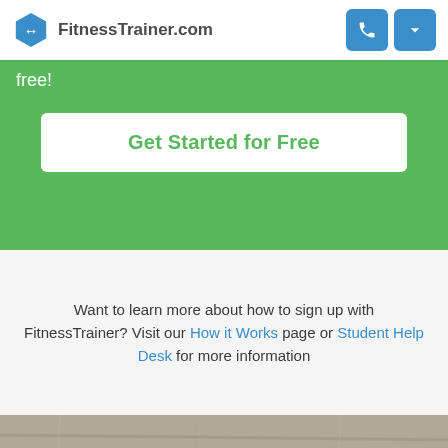FitnessTrainer.com
free!
Get Started for Free
Want to learn more about how to sign up with FitnessTrainer? Visit our How it Works page or Student Help Desk for more information
[Figure (photo): Background photo of wooden surface, partially visible at the bottom of the page, with large white text 'Are you a personal trainer' overlaid]